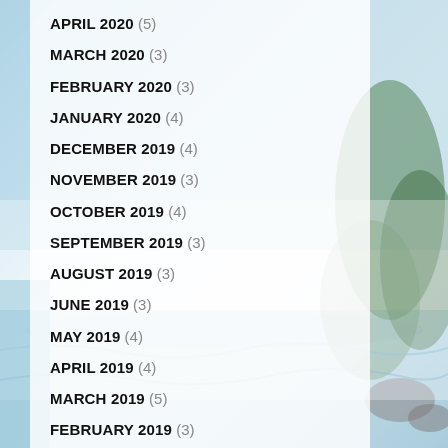APRIL 2020 (5)
MARCH 2020 (3)
FEBRUARY 2020 (3)
JANUARY 2020 (4)
DECEMBER 2019 (4)
NOVEMBER 2019 (3)
OCTOBER 2019 (4)
SEPTEMBER 2019 (3)
AUGUST 2019 (3)
JUNE 2019 (3)
MAY 2019 (4)
APRIL 2019 (4)
MARCH 2019 (5)
FEBRUARY 2019 (3)
JANUARY 2019 (2)